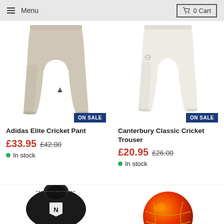Menu | 0 Cart
[Figure (photo): Adidas Elite Cricket Pant product photo showing beige/cream cricket trousers with Adidas logo, ON SALE badge]
Adidas Elite Cricket Pant
£33.95 £42.00
In stock
[Figure (photo): Canterbury Classic Cricket Trouser product photo showing white cricket trousers, ON SALE badge]
Canterbury Classic Cricket Trouser
£20.95 £26.00
In stock
[Figure (photo): Partial view of a black cricket bag with N logo]
[Figure (photo): Partial view of an orange cricket ball]